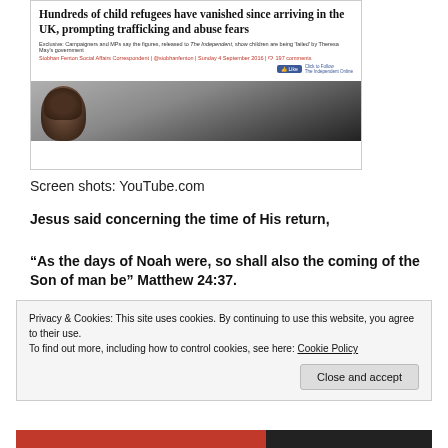[Figure (screenshot): Screenshot of a news article from The Independent: 'Hundreds of child refugees have vanished since arriving in the UK, prompting trafficking and abuse fears' with a photo of a child with curly hair facing a wall.]
Screen shots: YouTube.com
Jesus said concerning the time of His return,
“As the days of Noah were, so shall also the coming of the Son of man be” Matthew 24:37.
Privacy & Cookies: This site uses cookies. By continuing to use this website, you agree to their use. To find out more, including how to control cookies, see here: Cookie Policy
Close and accept